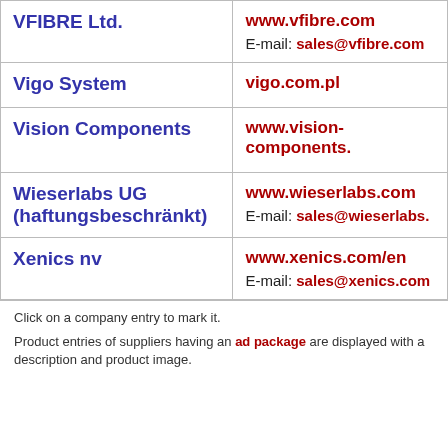| Company | Contact |
| --- | --- |
| VFIBRE Ltd. | www.vfibre.com
E-mail: sales@vfibre.com |
| Vigo System | vigo.com.pl |
| Vision Components | www.vision-components. |
| Wieserlabs UG (haftungsbeschränkt) | www.wieserlabs.com
E-mail: sales@wieserlabs. |
| Xenics nv | www.xenics.com/en
E-mail: sales@xenics.com |
Click on a company entry to mark it.
Product entries of suppliers having an ad package are displayed with a description and product image.